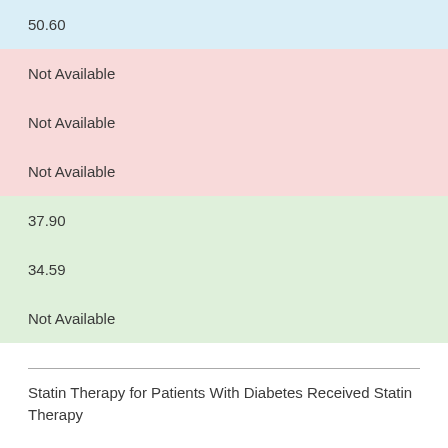| 50.60 |
| Not Available |
| Not Available |
| Not Available |
| 37.90 |
| 34.59 |
| Not Available |
Statin Therapy for Patients With Diabetes Received Statin Therapy